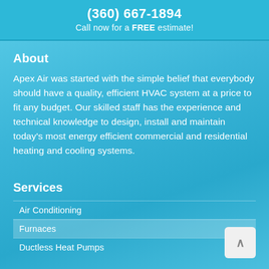(360) 667-1894
Call now for a FREE estimate!
About
Apex Air was started with the simple belief that everybody should have a quality, efficient HVAC system at a price to fit any budget. Our skilled staff has the experience and technical knowledge to design, install and maintain today’s most energy efficient commercial and residential heating and cooling systems.
Services
Air Conditioning
Furnaces
Ductless Heat Pumps